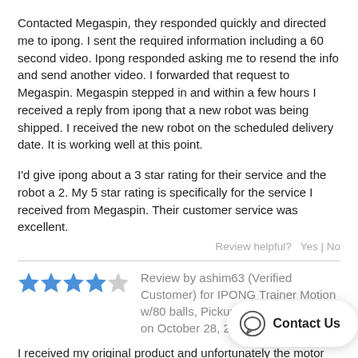Contacted Megaspin, they responded quickly and directed me to ipong. I sent the required information including a 60 second video. Ipong responded asking me to resend the info and send another video. I forwarded that request to Megaspin. Megaspin stepped in and within a few hours I received a reply from ipong that a new robot was being shipped. I received the new robot on the scheduled delivery date. It is working well at this point.
I'd give ipong about a 3 star rating for their service and the robot a 2. My 5 star rating is specifically for the service I received from Megaspin. Their customer service was excellent.
Review helpful?  Yes | No
Review by ashim63 (Verified Customer) for IPONG Trainer Motion w/80 balls, Pickup Net and Catch Net on October 28, 2019
I received my original product and unfortunately the motor was defective. However, once I notified the support team they quickly made sure that a replacement wa... prompt and their customer service was m... new machine arrived and it works great!